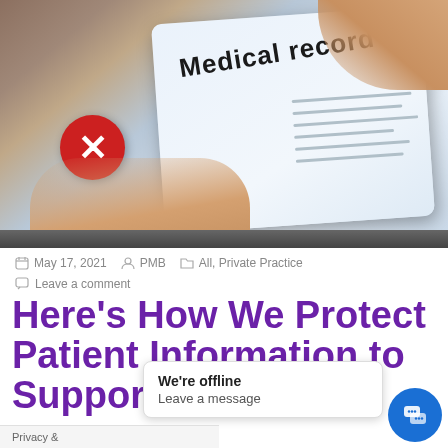[Figure (photo): A hand holding a tablet or clipboard displaying a medical record form. The form shows 'Medical record' text and a red cross icon. The background is blurred.]
May 17, 2021   PMB   All, Private Practice
Leave a comment
Here's How We Protect Patient Information to Support...